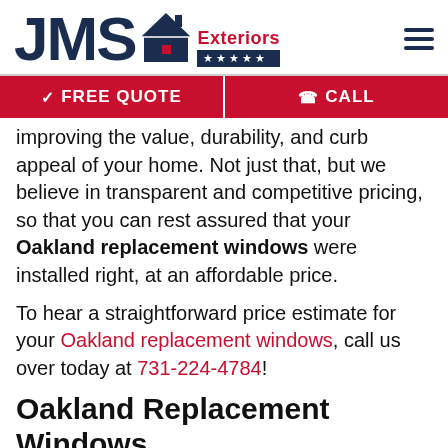[Figure (logo): JMS Exteriors logo with house icon, five stars on dark blue bar]
✓ FREE QUOTE   ☎ CALL
improving the value, durability, and curb appeal of your home. Not just that, but we believe in transparent and competitive pricing, so that you can rest assured that your Oakland replacement windows were installed right, at an affordable price.
To hear a straightforward price estimate for your Oakland replacement windows, call us over today at 731-224-4784!
Oakland Replacement Windows